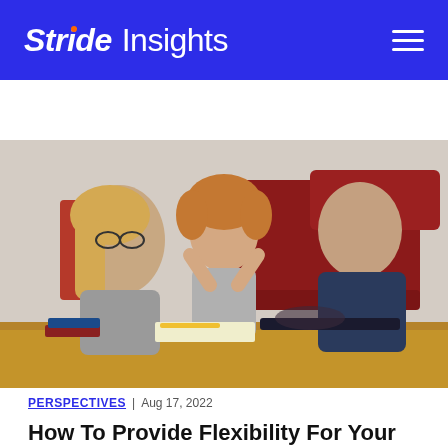Stride Insights
[Figure (photo): A woman, a young girl, and a man sitting at a table together. The girl is laughing and giving a high five. There are books and papers on the table. A red sofa is visible in the background.]
PERSPECTIVES | Aug 17, 2022
How To Provide Flexibility For Your High